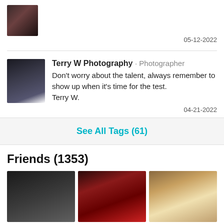05-12-2022
Terry W Photography · Photographer
Don't worry about the talent, always remember to show up when it's time for the test.
Terry W.
04-21-2022
See All Tags (61)
Friends (1353)
[Figure (photo): Three friend profile photos in a grid]
[Figure (photo): Top avatar thumbnail - dark toned portrait]
[Figure (photo): Terry W Photography avatar - figure with white shirt]